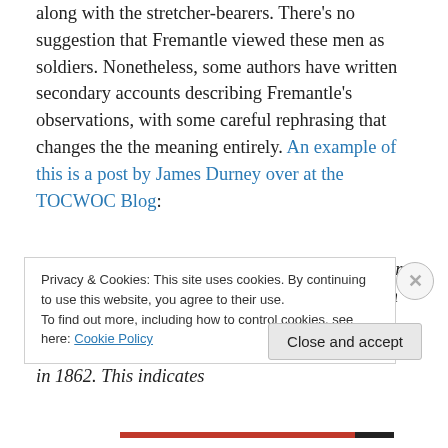along with the stretcher-bearers. There's no suggestion that Fremantle viewed these men as soldiers. Nonetheless, some authors have written secondary accounts describing Fremantle's observations, with some careful rephrasing that changes the the meaning entirely. An example of this is a post by James Durney over at the TOCWOC Blog:
[Fremantle] states that every regiment and battery has from 20 to 40 [sic.] black men traveling with it. His description of their dress and arms is similar to the description of Jackson's command in 1862. This indicates
Privacy & Cookies: This site uses cookies. By continuing to use this website, you agree to their use.
To find out more, including how to control cookies, see here: Cookie Policy
Close and accept